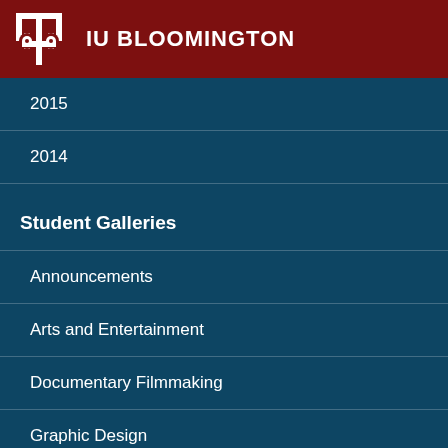IU BLOOMINGTON
2015
2014
Student Galleries
Announcements
Arts and Entertainment
Documentary Filmmaking
Graphic Design
Miscellaneous
Multimedia
Newspaper/News Magazine